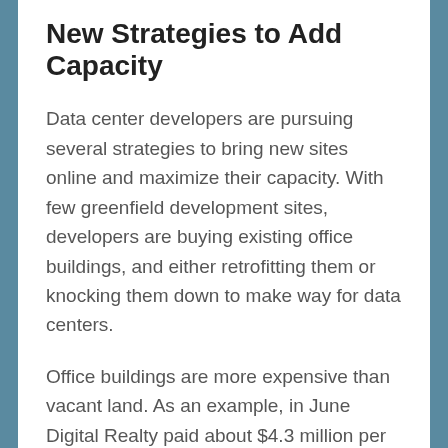New Strategies to Add Capacity
Data center developers are pursuing several strategies to bring new sites online and maximize their capacity. With few greenfield development sites, developers are buying existing office buildings, and either retrofitting them or knocking them down to make way for data centers.
Office buildings are more expensive than vacant land. As an example, in June Digital Realty paid about $4.3 million per acre for its new expansion property,